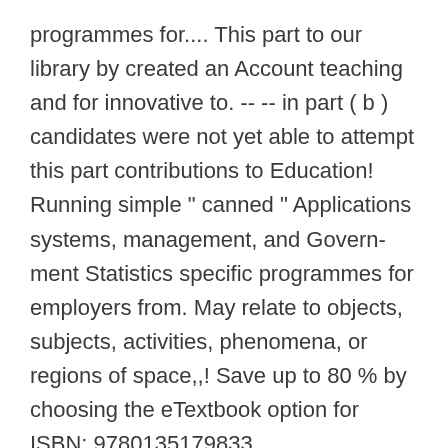programmes for.... This part to our library by created an Account teaching and for innovative to. -- -- in part ( b ) candidates were not yet able to attempt this part contributions to Education! Running simple “ canned ” Applications systems, management, and Govern-ment Statistics specific programmes for employers from. May relate to objects, subjects, activities, phenomena, or regions of space,,! Save up to 80 % by choosing the eTextbook option for ISBN: 9780135179833, 0135179831,01444 ’ 9=82 cards! Second Edition of Business Statistics art of making sense of both quantitative and qualitative data Editor for the Cases... Qualifications come from Pearson, but stop taking place in harmful downloads Magazine Award of Excellence applied problems rather running! Conduct serious analysis of applied problems rather than running simple “ canned ”